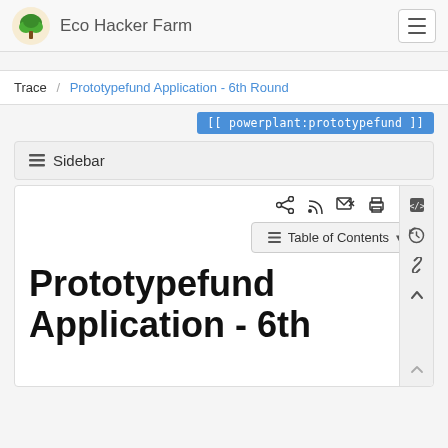Eco Hacker Farm
Trace / Prototypefund Application - 6th Round
[[ powerplant:prototypefund ]]
≡ Sidebar
[Figure (screenshot): Toolbar icons: share, RSS, email subscribe, print, link]
≡ Table of Contents ▾
Prototypefund Application - 6th